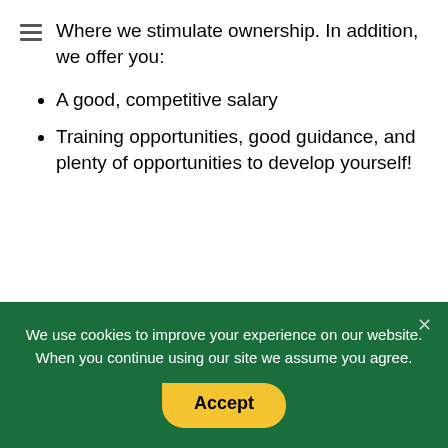Where we stimulate ownership. In addition, we offer you:
A good, competitive salary
Training opportunities, good guidance, and plenty of opportunities to develop yourself!
Interested?
Apply today!
Send your application by...
We use cookies to improve your experience on our website. When you continue using our site we assume you agree.
Accept